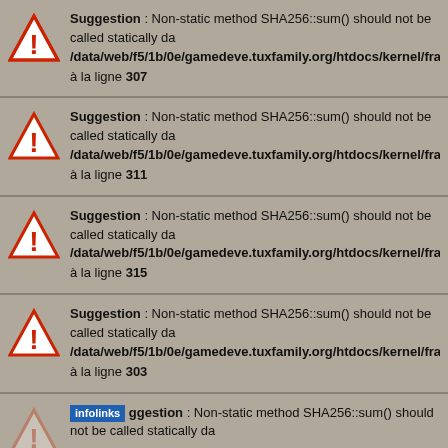Suggestion : Non-static method SHA256::sum() should not be called statically da /data/web/f5/1b/0e/gamedeve.tuxfamily.org/htdocs/kernel/framework/lib/sha2 à la ligne 307
Suggestion : Non-static method SHA256::sum() should not be called statically da /data/web/f5/1b/0e/gamedeve.tuxfamily.org/htdocs/kernel/framework/lib/sha2 à la ligne 311
Suggestion : Non-static method SHA256::sum() should not be called statically da /data/web/f5/1b/0e/gamedeve.tuxfamily.org/htdocs/kernel/framework/lib/sha2 à la ligne 315
Suggestion : Non-static method SHA256::sum() should not be called statically da /data/web/f5/1b/0e/gamedeve.tuxfamily.org/htdocs/kernel/framework/lib/sha2 à la ligne 303
infolinks ggestion : Non-static method SHA256::sum() should not be called statically da
[Figure (screenshot): Bloomingdale's advertisement banner showing logo, 'View Today's Top Deals!' tagline, model with hat, and SHOP NOW button]